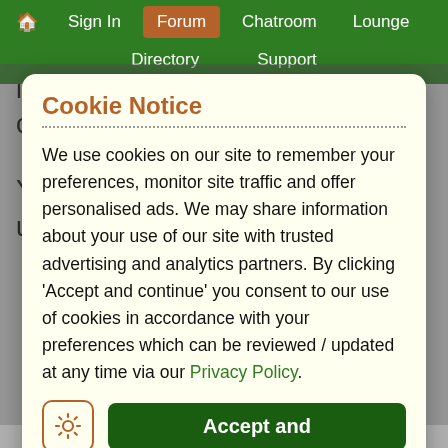🏠 Sign In | Forum | Chatroom | Lounge | Directory | Support
is excellent in terms both of commonsense and insightfulness.
Yoo, of course you can keep updating and I'll
Cookie Notice
We use cookies on our site to remember your preferences, monitor site traffic and offer personalised ads. We may share information about your use of our site with trusted advertising and analytics partners. By clicking 'Accept and continue' you consent to our use of cookies in accordance with your preferences which can be reviewed / updated at any time via our Privacy Policy.
Copyright 2022 · www.epilepticproblems.org